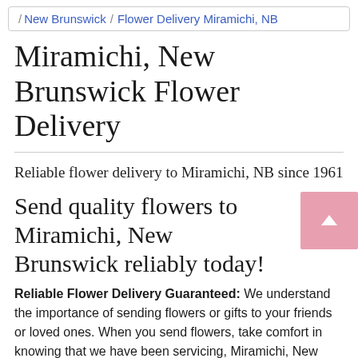New Brunswick / Flower Delivery Miramichi, NB
Miramichi, New Brunswick Flower Delivery
Reliable flower delivery to Miramichi, NB since 1961
Send quality flowers to Miramichi, New Brunswick reliably today!
Reliable Flower Delivery Guaranteed: We understand the importance of sending flowers or gifts to your friends or loved ones. When you send flowers, take comfort in knowing that we have been servicing, Miramichi, New Brunswick and surrounding areas